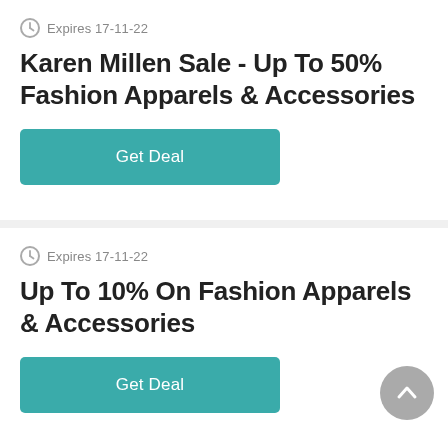Expires 17-11-22
Karen Millen Sale - Up To 50% Fashion Apparels & Accessories
Get Deal
Expires 17-11-22
Up To 10% On Fashion Apparels & Accessories
Get Deal